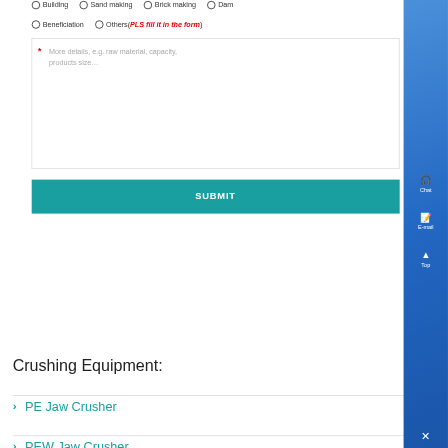○ Building  ○ Sand making  ○ Brick making  ○ Dam
○ Beneficiation  ○ Others(PLS fill it in the form)
* More details, e.g. raw material, capacity, products size…
SUBMIT
Crushing Equipment:
> PE Jaw Crusher
> PEW Jaw Crusher